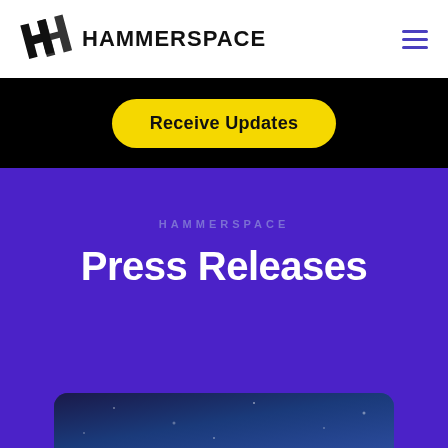[Figure (logo): Hammerspace logo: stylized overlapping H shapes in black, followed by bold text HAMMERSPACE]
HAMMERSPACE
Receive Updates
HAMMERSPACE
Press Releases
[Figure (photo): Partial view of a dark blue/space-themed image card at the bottom of the purple section]